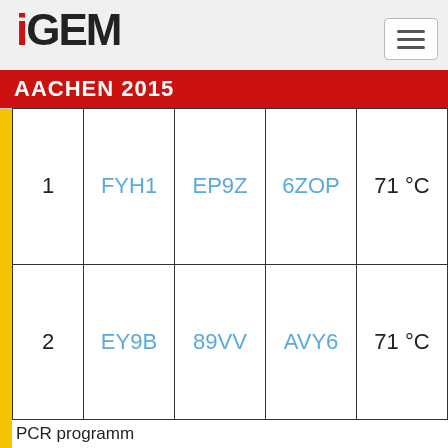iGEM AACHEN 2015
| # | Forward Primer | Reverse Primer | Template | Annealing Temp |
| --- | --- | --- | --- | --- |
| 1 | FYH1 | EP9Z | 6ZOP | 71 °C |
| 2 | EY9B | 89VV | AVY6 | 71 °C |
PCR programm